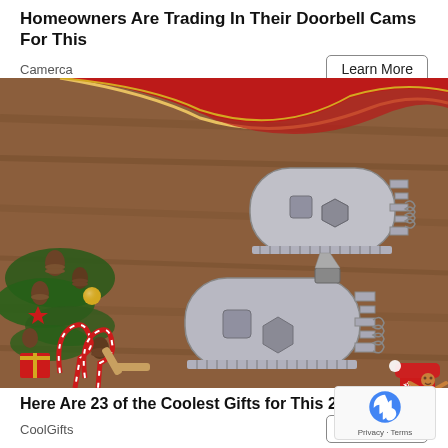Homeowners Are Trading In Their Doorbell Cams For This
Camerca
[Figure (photo): Two multi-tool key-shaped metal gadgets on a wooden surface surrounded by Christmas decorations including red ribbon, pine cones, candy canes, and ornaments.]
Here Are 23 of the Coolest Gifts for This 2022
CoolGifts